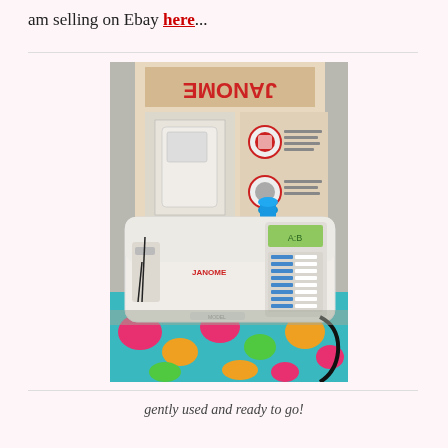am selling on Ebay here...
[Figure (photo): A Janome computerized sewing machine with its original box behind it, thread spool on top, sitting on a colorful floral fabric. The machine is white with a digital display panel and stitch selector buttons on the right side.]
gently used and ready to go!